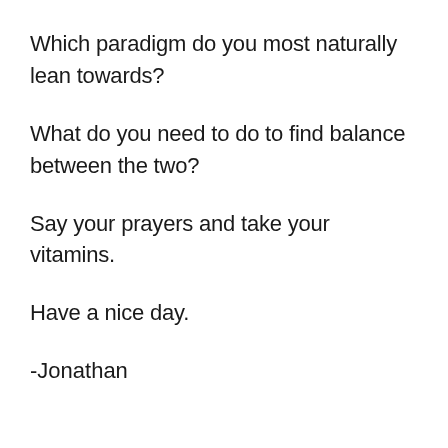Which paradigm do you most naturally lean towards?
What do you need to do to find balance between the two?
Say your prayers and take your vitamins.
Have a nice day.
-Jonathan